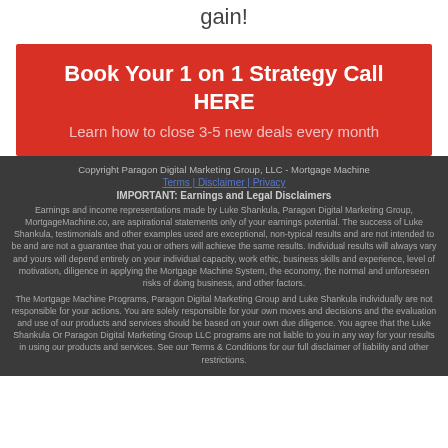gain!
Book Your 1 on 1 Strategy Call HERE
Learn how to close 3-5 new deals every month
Copyright Paragon Digital Marketing Group, LLC - Mortgage Machine
Terms | Disclaimer | Privacy
IMPORTANT: Earnings and Legal Disclaimers
Earnings and income representations made by Luke Shankula, Paragon Digital Marketing Group, MortgageMachine.co, are aspirational statements only of your earnings potential. The success of Luke Shankula, testimonials and other examples used are exceptional, non-typical results and are not intended to be and are not a guarantee that you or others will achieve the same results. Individual results will always vary and yours will depend entirely on your individual capacity, work ethic, business skills and experience, level of motivation, diligence in applying the Mortgage Machine System, the economy, the normal and unforeseen risks of doing business, and other factors.
The Mortgage Machine Programs, Paragon Digital Marketing Group and Luke Shankula individually are not responsible for your actions. You are solely responsible for your own moves and decisions and the evaluation and use of our products and services should be based on your own due diligence. You agree that the Luke Shankula Or Paragon Digital Marketing Group LLC programs are not liable to you in any way for your results in using our products and services. See our Terms & Conditions for our full disclaimer of liability and other restrictions.